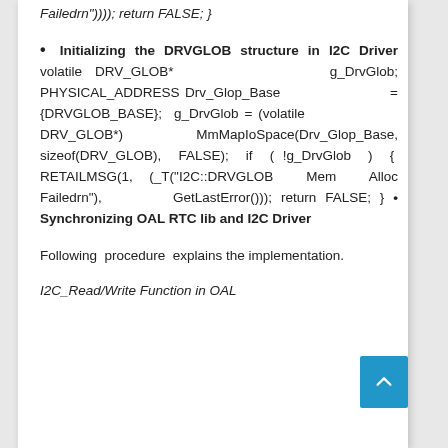Failedrn")))); return FALSE; }
• Initializing the DRVGLOB structure in I2C Driver volatile DRV_GLOB* g_DrvGlob; PHYSICAL_ADDRESS Drv_Glop_Base = {DRVGLOB_BASE}; g_DrvGlob = (volatile DRV_GLOB*) MmMapIoSpace(Drv_Glop_Base, sizeof(DRV_GLOB), FALSE); if ( !g_DrvGlob ) { RETAILMSG(1, (_T("I2C::DRVGLOB Mem Alloc Failedrn"), GetLastError())); return FALSE; } • Synchronizing OAL RTC lib and I2C Driver
Following procedure explains the implementation.
I2C_Read/Write Function in OAL